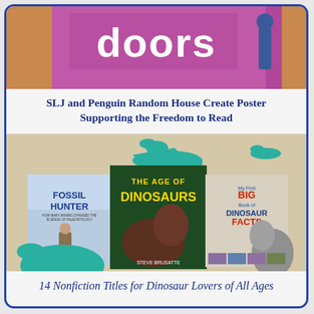[Figure (photo): Top portion of a book cover or poster showing the word 'doors' on a purple/pink background with a figure standing to the right]
SLJ and Penguin Random House Create Poster Supporting the Freedom to Read
[Figure (photo): Three dinosaur book covers displayed together: 'Fossil Hunter', 'The Age of Dinosaurs', and 'My First Big Book of Dinosaur Facts', with teal dinosaur silhouettes in background]
14 Nonfiction Titles for Dinosaur Lovers of All Ages